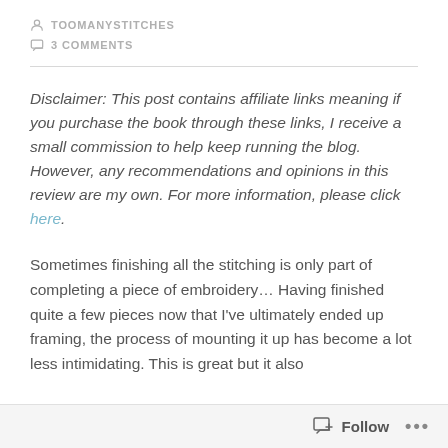TOOMANYSTITCHES
3 COMMENTS
Disclaimer: This post contains affiliate links meaning if you purchase the book through these links, I receive a small commission to help keep running the blog. However, any recommendations and opinions in this review are my own. For more information, please click here.
Sometimes finishing all the stitching is only part of completing a piece of embroidery… Having finished quite a few pieces now that I've ultimately ended up framing, the process of mounting it up has become a lot less intimidating. This is great but it also
Follow ...